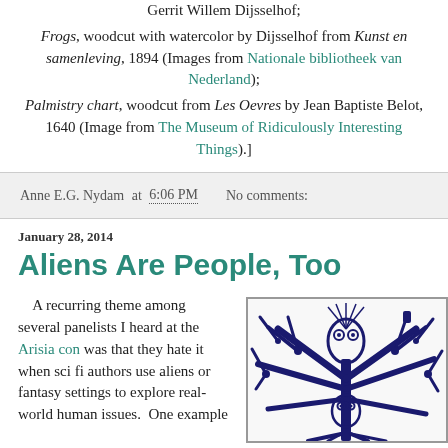Gerrit Willem Dijsselhof; Frogs, woodcut with watercolor by Dijsselhof from Kunst en samenleving, 1894 (Images from Nationale bibliotheek van Nederland); Palmistry chart, woodcut from Les Oevres by Jean Baptiste Belot, 1640 (Image from The Museum of Ridiculously Interesting Things).]
Anne E.G. Nydam at 6:06 PM   No comments:
January 28, 2014
Aliens Are People, Too
A recurring theme among several panelists I heard at the Arisia con was that they hate it when sci fi authors use aliens or fantasy settings to explore real-world human issues.  One example
[Figure (illustration): Blue ink woodcut-style illustration of stylized tree branches with owl-like figures and decorative elements, rendered in dark navy blue on white background]